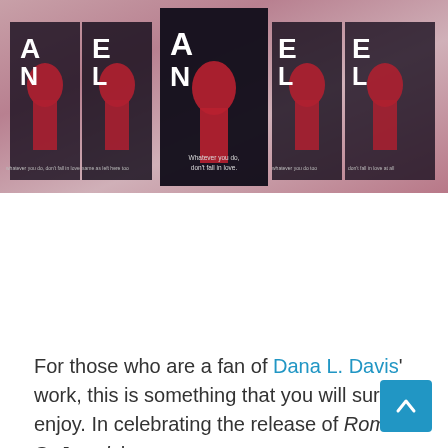[Figure (photo): Multiple book covers of 'Jewel' by Dana L. Davis arranged side by side. The covers are dark (near-black) with large white letters spelling out parts of the title and a red figure/silhouette design. The covers are displayed against a dusty rose/mauve gradient background.]
For those who are a fan of Dana L. Davis' work, this is something that you will surely enjoy. In celebrating the release of Roman S. Jewel, here